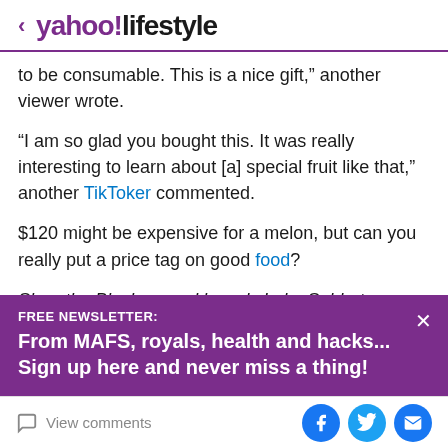< yahoo!lifestyle
to be consumable. This is a nice gift,” another viewer wrote.
“I am so glad you bought this. It was really interesting to learn about [a] special fruit like that,” another TikToker commented.
$120 might be expensive for a melon, but can you really put a price tag on good food?
Shop the Black-owned brands Luka Sabbat wore for his In
FREE NEWSLETTER:
From MAFS, royals, health and hacks... Sign up here and never miss a thing!
View comments